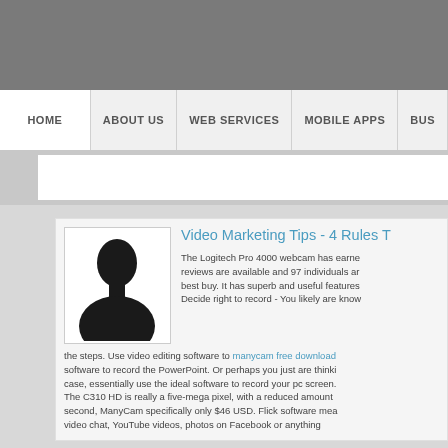[Figure (other): Gray header banner area at top of webpage]
HOME | ABOUT US | WEB SERVICES | MOBILE APPS | BUS...
[Figure (photo): Silhouette placeholder image of a person (head and shoulders)]
Video Marketing Tips - 4 Rules T...
The Logitech Pro 4000 webcam has earne... reviews are available and 97 individuals ar... best buy. It has superb and useful features... Decide right to record - You likely are know... the steps. Use video editing software to manycam free download software to record the PowerPoint. Or perhaps you just are thi... case, essentially use the ideal software to record your pc screen... The C310 HD is really a five-mega pixel, with a reduced amount... second, ManyCam specifically only $46 USD. Flick software mea... video chat, YouTube videos, photos on Facebook or anything...